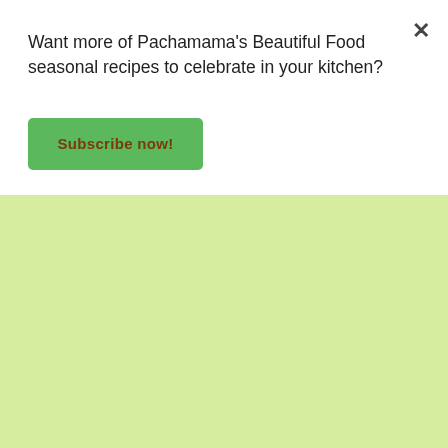Want more of Pachamama's Beautiful Food seasonal recipes to celebrate in your kitchen?
Subscribe now!
COME ALONG FOR THE RIDE? RECEIVE PACHAMAMA IN YOUR INBOX
Come along for the ride? Receive Pachamama in your inbox
Enter your email address